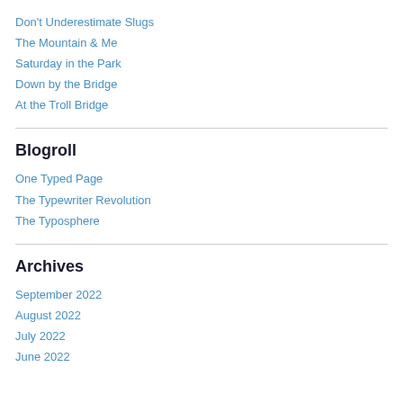Don't Underestimate Slugs
The Mountain & Me
Saturday in the Park
Down by the Bridge
At the Troll Bridge
Blogroll
One Typed Page
The Typewriter Revolution
The Typosphere
Archives
September 2022
August 2022
July 2022
June 2022